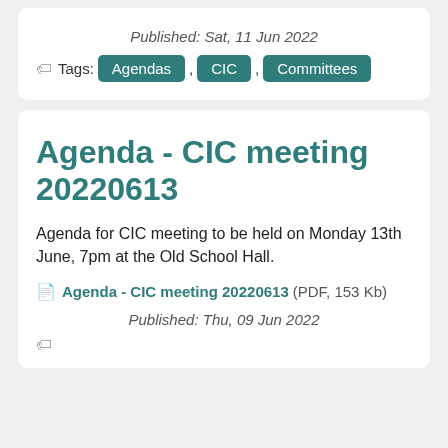Published: Sat, 11 Jun 2022
Tags: Agendas , CIC , Committees
Agenda - CIC meeting 20220613
Agenda for CIC meeting to be held on Monday 13th June, 7pm at the Old School Hall.
Agenda - CIC meeting 20220613 (PDF, 153 Kb)
Published: Thu, 09 Jun 2022